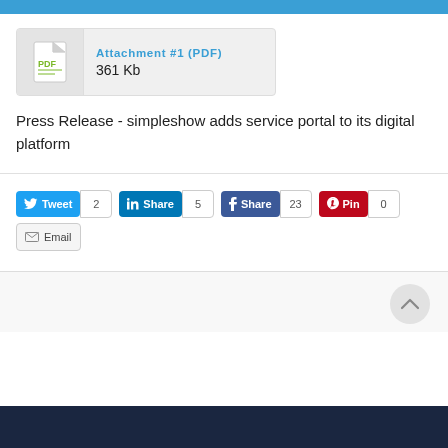[Figure (screenshot): Top blue bar header strip]
[Figure (illustration): Attachment box with PDF icon, showing 'Attachment #1 (PDF)' and '361 Kb']
Press Release - simpleshow adds service portal to its digital platform
[Figure (screenshot): Social share buttons: Tweet (2), Share on LinkedIn (5), Share on Facebook (23), Pin (0), Email]
[Figure (illustration): Scroll to top circular button and dark navy footer bar]